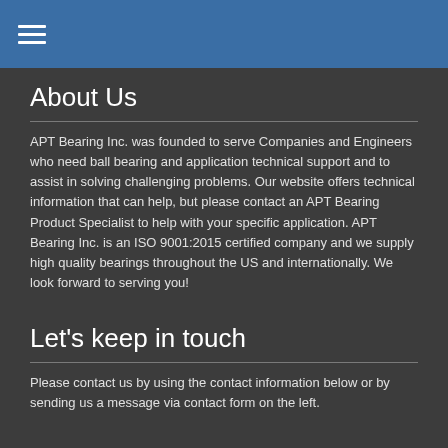≡
About Us
APT Bearing Inc. was founded to serve Companies and Engineers who need ball bearing and application technical support and to assist in solving challenging problems. Our website offers technical information that can help, but please contact an APT Bearing Product Specialist to help with your specific application. APT Bearing Inc. is an ISO 9001:2015 certified company and we supply high quality bearings throughout the US and internationally. We look forward to serving you!
Let's keep in touch
Please contact us by using the contact information below or by sending us a message via contact form on the left.